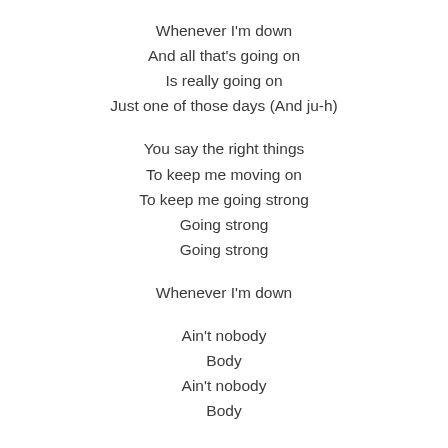Whenever I'm down
And all that's going on
Is really going on
Just one of those days (And ju-h)
You say the right things
To keep me moving on
To keep me going strong
Going strong
Going strong
Whenever I'm down
Ain't nobody
Body
Ain't nobody
Body